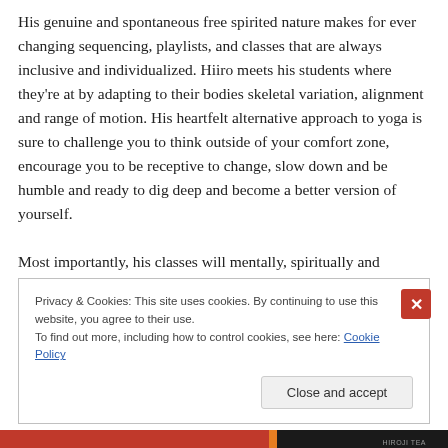His genuine and spontaneous free spirited nature makes for ever changing sequencing, playlists, and classes that are always inclusive and individualized. Hiiro meets his students where they're at by adapting to their bodies skeletal variation, alignment and range of motion. His heartfelt alternative approach to yoga is sure to challenge you to think outside of your comfort zone, encourage you to be receptive to change, slow down and be humble and ready to dig deep and become a better version of yourself.

Most importantly, his classes will mentally, spiritually and
Privacy & Cookies: This site uses cookies. By continuing to use this website, you agree to their use.
To find out more, including how to control cookies, see here: Cookie Policy